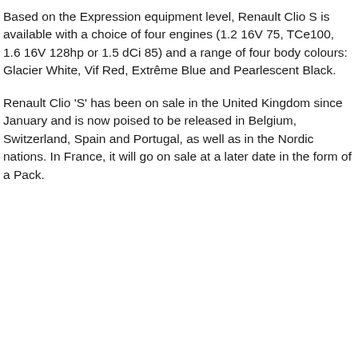Based on the Expression equipment level, Renault Clio S is available with a choice of four engines (1.2 16V 75, TCe100, 1.6 16V 128hp or 1.5 dCi 85) and a range of four body colours: Glacier White, Vif Red, Extrême Blue and Pearlescent Black.
Renault Clio 'S' has been on sale in the United Kingdom since January and is now poised to be released in Belgium, Switzerland, Spain and Portugal, as well as in the Nordic nations. In France, it will go on sale at a later date in the form of a Pack.